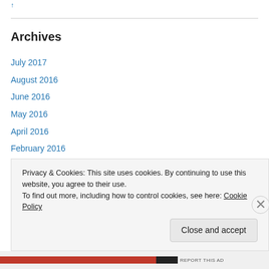Archives
July 2017
August 2016
June 2016
May 2016
April 2016
February 2016
January 2016
December 2015
November 2015
Privacy & Cookies: This site uses cookies. By continuing to use this website, you agree to their use.
To find out more, including how to control cookies, see here: Cookie Policy
Close and accept